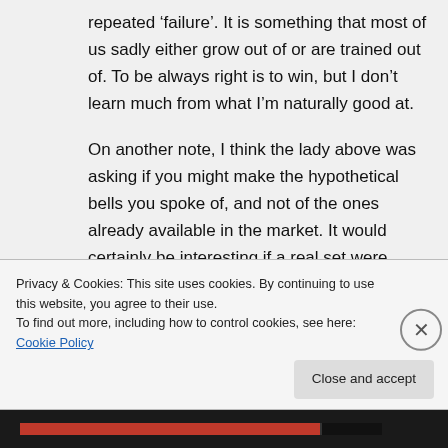repeated 'failure'. It is something that most of us sadly either grow out of or are trained out of. To be always right is to win, but I don't learn much from what I'm naturally good at.
On another note, I think the lady above was asking if you might make the hypothetical bells you spoke of, and not of the ones already available in the market. It would certainly be interesting if a real set were
Privacy & Cookies: This site uses cookies. By continuing to use this website, you agree to their use.
To find out more, including how to control cookies, see here: Cookie Policy